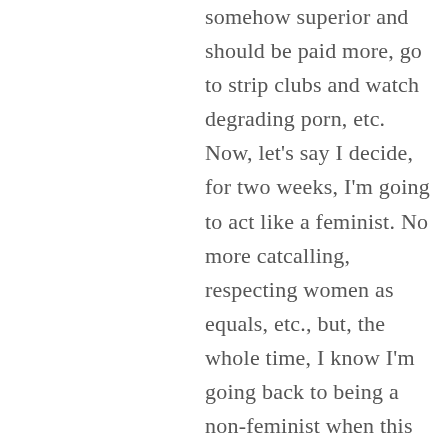somehow superior and should be paid more, go to strip clubs and watch degrading porn, etc. Now, let's say I decide, for two weeks, I'm going to act like a feminist. No more catcalling, respecting women as equals, etc., but, the whole time, I know I'm going back to being a non-feminist when this is over, and I never actually believe that women are